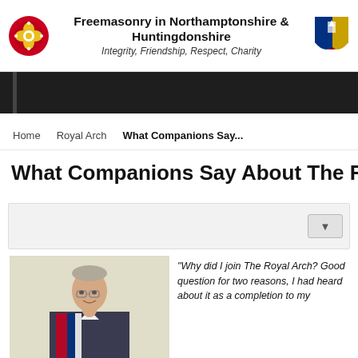Freemasonry in Northamptonshire & Huntingdonshire — Integrity, Friendship, Respect, Charity
Home   Royal Arch   What Companions Say...
What Companions Say About The Royal Arch
[Figure (photo): Media/slideshow control box with dropdown arrow button]
[Figure (photo): Portrait photo of a smiling older gentleman wearing Freemasonry regalia with red, blue and white sash]
"Why did I join The Royal Arch? Good question for two reasons, I had heard about it as a completion to my